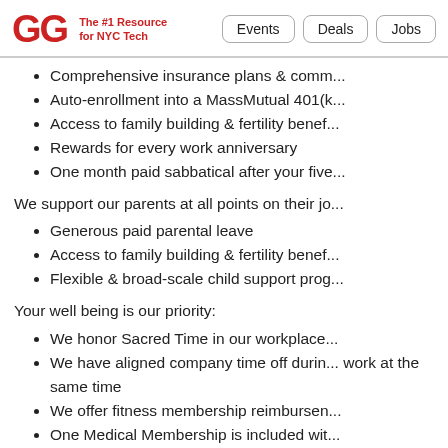GG The #1 Resource for NYC Tech | Events | Deals | Jobs
Comprehensive insurance plans & comm...
Auto-enrollment into a MassMutual 401(k...
Access to family building & fertility benef...
Rewards for every work anniversary
One month paid sabbatical after your five...
We support our parents at all points on their jo...
Generous paid parental leave
Access to family building & fertility benef...
Flexible & broad-scale child support prog...
Your well being is our priority:
We honor Sacred Time in our workplace...
We have aligned company time off durin... work at the same time
We offer fitness membership reimbursen...
One Medical Membership is included wit...
We have a vibrant, collaborative, & supportive...